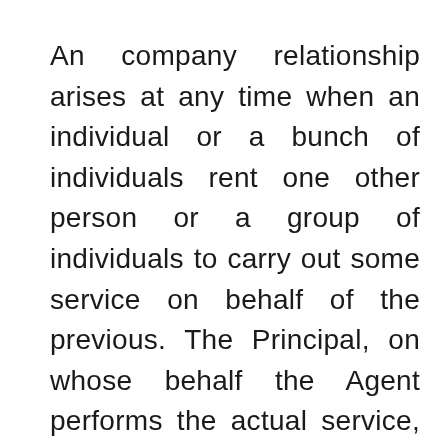An company relationship arises at any time when an individual or a bunch of individuals rent one other person or a group of individuals to carry out some service on behalf of the previous. The Principal, on whose behalf the Agent performs the actual service, delegates the decision making authority to the agent. Those who try to tell the boss how wonderful he/she is ought to learn that this is not to their benefit. Reward instead those that work onerous and deliver results. Those that fail to deliver should be demoted. Retirement needs to be about having